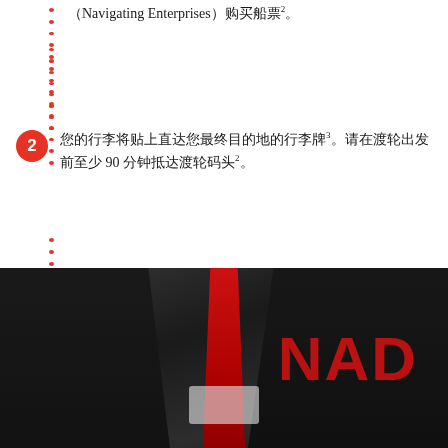（Navigating Enterprises）购买船票²。
您的行李将贴上直达您最终目的地的行李牌³。请在渡轮出发前至少 90 分钟抵达渡轮码头²。
联系蛇口渡轮码头的加航值机柜台，获取您的登机牌和离境税退款券（若适用），抵达香港国际机场海天客运码头后可凭此券获得现金退款。
[Figure (photo): A person wearing a dark suit with a red tie, partial view. Red text 'NAD' visible on the right side of the image. A white badge or card at the bottom center.]